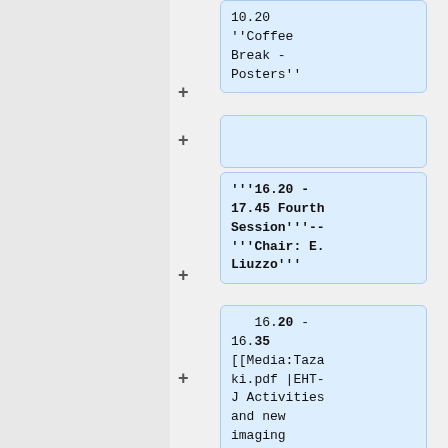''Coffee Break - Posters''
'''16.20 - 17.45 Fourth Session'''--'''Chair: E. Liuzzo'''
16.20 - 16.35 [[Media:Tazaki.pdf |EHT-J Activities and new imaging technique with sparse modeling]] -